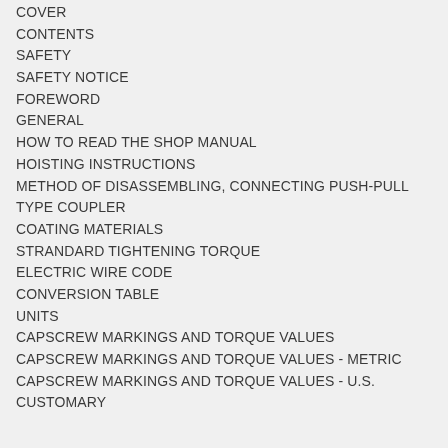COVER
CONTENTS
SAFETY
SAFETY NOTICE
FOREWORD
GENERAL
HOW TO READ THE SHOP MANUAL
HOISTING INSTRUCTIONS
METHOD OF DISASSEMBLING, CONNECTING PUSH-PULL TYPE COUPLER
COATING MATERIALS
STRANDARD TIGHTENING TORQUE
ELECTRIC WIRE CODE
CONVERSION TABLE
UNITS
CAPSCREW MARKINGS AND TORQUE VALUES
CAPSCREW MARKINGS AND TORQUE VALUES - METRIC
CAPSCREW MARKINGS AND TORQUE VALUES - U.S. CUSTOMARY